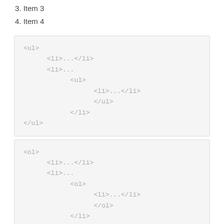3. Item 3
4. Item 4
[Figure (other): Code block showing HTML unordered list (ul) nesting structure with li and nested ul elements]
[Figure (other): Code block showing HTML ordered list (ol) nesting structure with li and nested ol elements]
NOTE  You can also use additional Ukit classes for